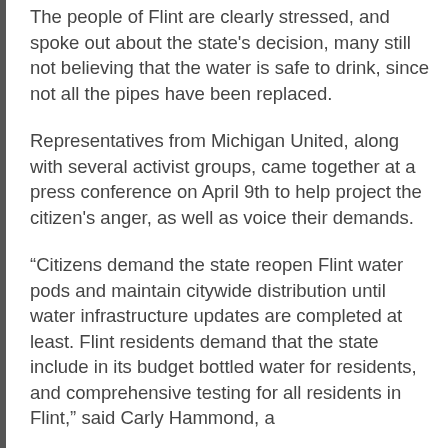The people of Flint are clearly stressed, and spoke out about the state's decision, many still not believing that the water is safe to drink, since not all the pipes have been replaced.
Representatives from Michigan United, along with several activist groups, came together at a press conference on April 9th to help project the citizen's anger, as well as voice their demands.
“Citizens demand the state reopen Flint water pods and maintain citywide distribution until water infrastructure updates are completed at least. Flint residents demand that the state include in its budget bottled water for residents, and comprehensive testing for all residents in Flint,” said Carly Hammond, a